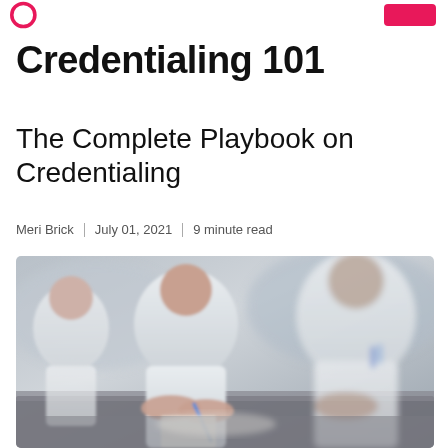Logo and navigation button
Credentialing 101
The Complete Playbook on Credentialing
Meri Brick | July 01, 2021 | 9 minute read
[Figure (photo): Healthcare professionals in white coats seated at a table writing with pens, blurred background, medical credentialing context]